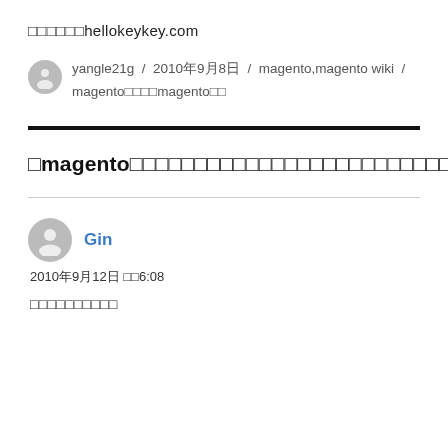□□□□□□hellokeykey.com
yangle21g / 2010年9月8日 / magento,magento wiki / magento□□□□magento□□
□magento□□□□□□□□□□□□□□□□□□□□□□□□□14□□□
Gin
2010年9月12日 □□6:08
□□□□□□□□□□